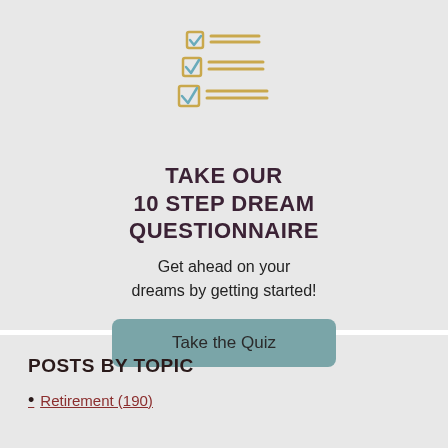[Figure (illustration): Checklist icon with three checkboxes (blue checkmarks) and horizontal lines (gold/yellow), stacked vertically]
TAKE OUR 10 STEP DREAM QUESTIONNAIRE
Get ahead on your dreams by getting started!
Take the Quiz
POSTS BY TOPIC
Retirement (190)